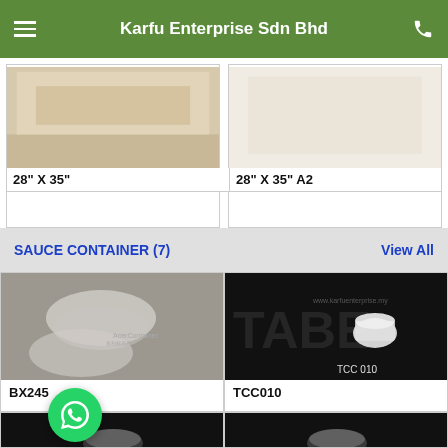Karfu Enterprise Sdn Bhd
28" X 35"
28" X 35" A2
SAUCE CONTAINER (7)
View All
[Figure (photo): BX245 sauce container product photo - clear plastic container]
BX245
[Figure (photo): TCC010 sauce container with TCC 010 label on black background]
TCC010
[Figure (photo): Third sauce container product photo on black background]
[Figure (photo): Fourth sauce container product photo on black background]